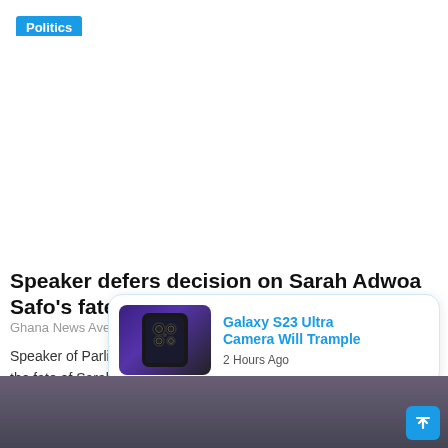Politics
Speaker defers decision on Sarah Adwoa Safo's fate
Ghana News Ave...    Jul 28, 2022
Speaker of Parliament, Alban Bagbin has deferred the decision on the fate of Sarah Adwoa Safo and two other...
[Figure (screenshot): Notification popup showing Galaxy S23 Ultra Camera Will Trample, 2 Hours Ago, with a phone image thumbnail]
[Figure (photo): Bottom strip showing a crowd of people, partially obscured]